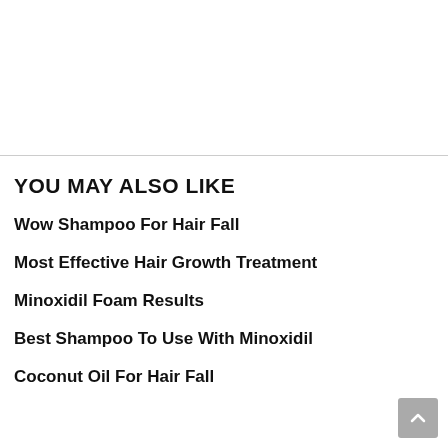YOU MAY ALSO LIKE
Wow Shampoo For Hair Fall
Most Effective Hair Growth Treatment
Minoxidil Foam Results
Best Shampoo To Use With Minoxidil
Coconut Oil For Hair Fall